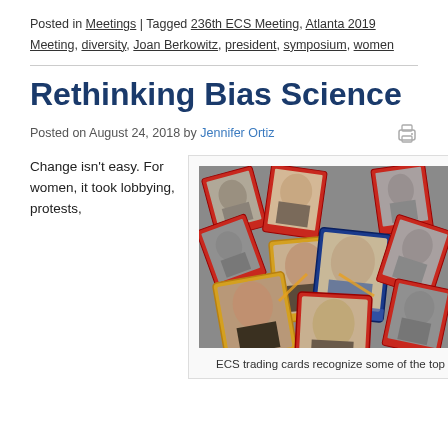Posted in Meetings | Tagged 236th ECS Meeting, Atlanta 2019 Meeting, diversity, Joan Berkowitz, president, symposium, women
Rethinking Bias Science
Posted on August 24, 2018 by Jennifer Ortiz
Change isn't easy. For women, it took lobbying, protests,
[Figure (photo): Scattered trading cards featuring portraits of scientists, some in color and some in black and white, with red, blue, and gold card borders]
ECS trading cards recognize some of the top